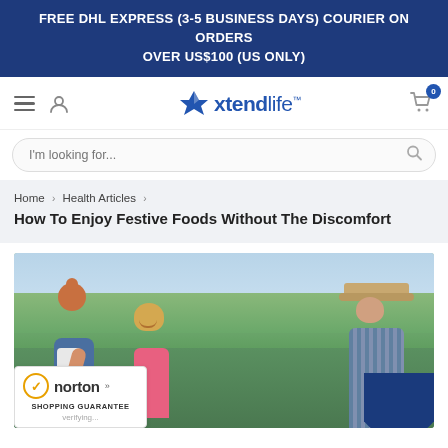FREE DHL EXPRESS (3-5 BUSINESS DAYS) COURIER ON ORDERS OVER US$100 (US ONLY)
[Figure (logo): Xtendlife logo with navigation icons: hamburger menu, user icon, logo, cart icon with badge '0']
[Figure (screenshot): Search bar with placeholder text 'I'm looking for...' and search icon]
Home › Health Articles › How To Enjoy Festive Foods Without The Discomfort
[Figure (photo): Outdoor photo of a woman in denim overalls and a young curly-haired girl smiling, with an older man in a hat, in a green field]
[Figure (logo): Norton Shopping Guarantee badge with orange checkmark, 'norton >>' text, 'SHOPPING GUARANTEE' label, and 'verifying...' text]